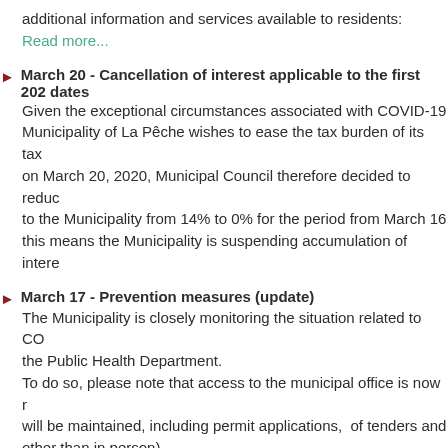additional information and services available to residents:
Read more...
March 20 - Cancellation of interest applicable to the first 202 dates
Given the exceptional circumstances associated with COVID-19, Municipality of La Pêche wishes to ease the tax burden of its tax on March 20, 2020, Municipal Council therefore decided to reduce to the Municipality from 14% to 0% for the period from March 16 this means the Municipality is suspending accumulation of intere
March 17 - Prevention measures (update)
The Municipality is closely monitoring the situation related to CO the Public Health Department.
To do so, please note that access to the municipal office is now r will be maintained, including permit applications, of tenders and other than in person).
Read more...
March 13 - Prevention measures
The Municipality is closely monitoring the situation related to CO the public health department. Please note that the municipal offic being taken to limit the spread of the virus.
However, some services will be closed for at least two 2 weeks